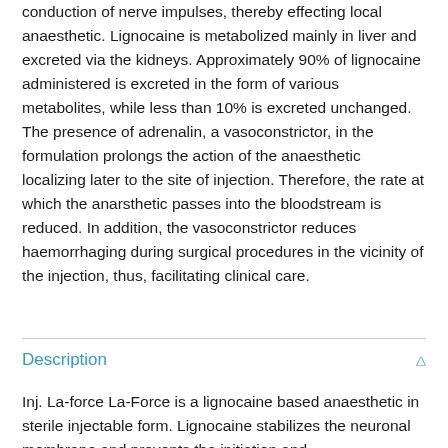conduction of nerve impulses, thereby effecting local anaesthetic. Lignocaine is metabolized mainly in liver and excreted via the kidneys. Approximately 90% of lignocaine administered is excreted in the form of various metabolites, while less than 10% is excreted unchanged. The presence of adrenalin, a vasoconstrictor, in the formulation prolongs the action of the anaesthetic localizing later to the site of injection. Therefore, the rate at which the anarsthetic passes into the bloodstream is reduced. In addition, the vasoconstrictor reduces haemorrhaging during surgical procedures in the vicinity of the injection, thus, facilitating clinical care.
Description
Inj. La-force La-Force is a lignocaine based anaesthetic in sterile injectable form. Lignocaine stabilizes the neuronal membrane and prevents the initiation and